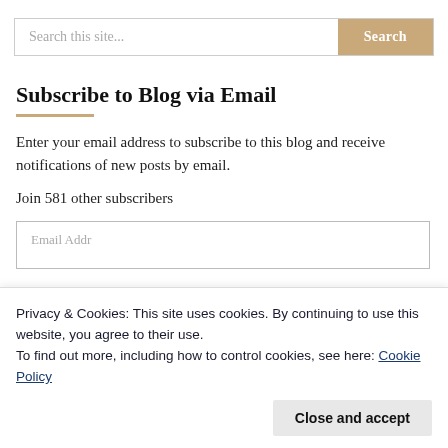[Figure (other): Search bar with text input placeholder 'Search this site...' and a tan/gold 'Search' button on the right]
Subscribe to Blog via Email
Enter your email address to subscribe to this blog and receive notifications of new posts by email.
Join 581 other subscribers
Email Address (input field partially visible)
Privacy & Cookies: This site uses cookies. By continuing to use this website, you agree to their use.
To find out more, including how to control cookies, see here: Cookie Policy
Close and accept